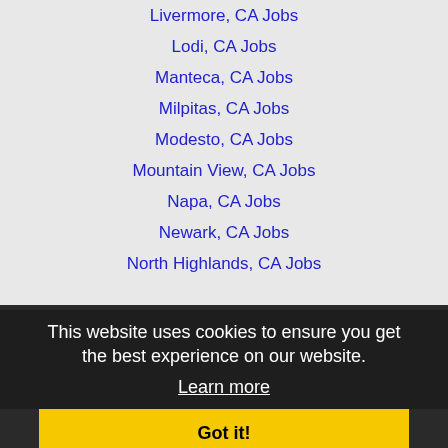Livermore, CA Jobs
Lodi, CA Jobs
Manteca, CA Jobs
Milpitas, CA Jobs
Modesto, CA Jobs
Mountain View, CA Jobs
Napa, CA Jobs
Newark, CA Jobs
North Highlands, CA Jobs
Oakland, CA Jobs
Palo Alto, CA Jobs
Parkway-South Sacramento, CA Jobs
Petaluma, CA Jobs
Pittsburg, CA Jobs
Pleasanton, CA Jobs
Rancho Cordova, CA Jobs
Redwood City, CA Jobs
Richmond, CA Jobs
This website uses cookies to ensure you get the best experience on our website. Learn more Got it!